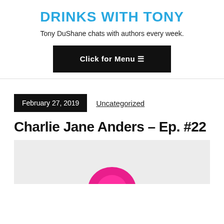DRINKS WITH TONY
Tony DuShane chats with authors every week.
Click for Menu ☰
February 27, 2019   Uncategorized
Charlie Jane Anders – Ep. #22
[Figure (photo): Partially visible image showing a pink/magenta object against a light grey background, cropped at the bottom of the page.]